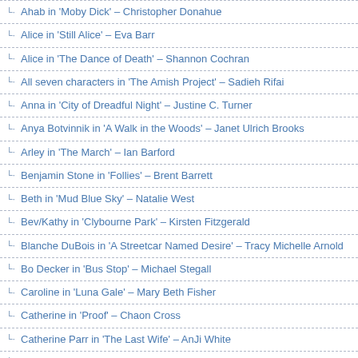Ahab in 'Moby Dick' – Christopher Donahue
Alice in 'Still Alice' – Eva Barr
Alice in 'The Dance of Death' – Shannon Cochran
All seven characters in 'The Amish Project' – Sadieh Rifai
Anna in 'City of Dreadful Night' – Justine C. Turner
Anya Botvinnik in 'A Walk in the Woods' – Janet Ulrich Brooks
Arley in 'The March' – Ian Barford
Benjamin Stone in 'Follies' – Brent Barrett
Beth in 'Mud Blue Sky' – Natalie West
Bev/Kathy in 'Clybourne Park' – Kirsten Fitzgerald
Blanche DuBois in 'A Streetcar Named Desire' – Tracy Michelle Arnold
Bo Decker in 'Bus Stop' – Michael Stegall
Caroline in 'Luna Gale' – Mary Beth Fisher
Catherine in 'Proof' – Chaon Cross
Catherine Parr in 'The Last Wife' – AnJi White
Charlesetta in 'East Texas Hot Links' – Tyla Abercrumbie
Clown in 'Burning Bluebeard' – Dean Evans
Clytemnestra in 'Agamemnon' – Sandra Marquez
Davies in 'The Caretaker' – Bill Norris
Donel in 'The Opponent' – Kamal Angelo Bolden